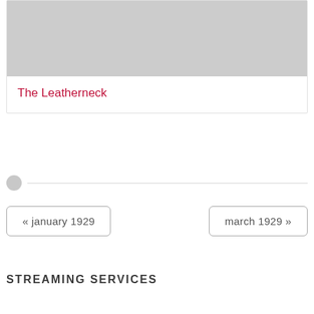[Figure (photo): Gray placeholder image for The Leatherneck movie card]
The Leatherneck
« january 1929
march 1929 »
STREAMING SERVICES